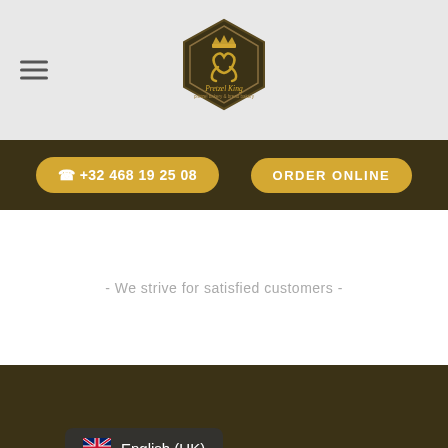[Figure (logo): Pretzel King logo — hexagonal dark badge with crown, pretzel icon and text 'Pretzel King' with tagline]
☎ +32 468 19 25 08
ORDER ONLINE
- We strive for satisfied customers -
English (UK)